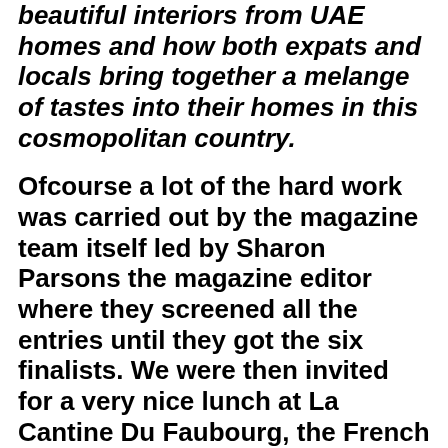beautiful interiors from UAE homes and how both expats and locals bring together a melange of tastes into their homes in this cosmopolitan country.
Ofcourse a lot of the hard work was carried out by the magazine team itself led by Sharon Parsons the magazine editor where they screened all the entries until they got the six finalists. We were then invited for a very nice lunch at La Cantine Du Faubourg, the French cuisine restaurant with its multisensory experience.